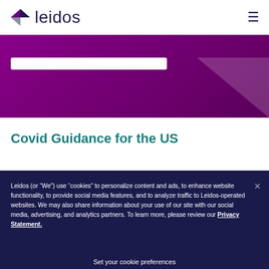leidos
[Figure (illustration): Purple banner background with a white input/search bar element partially visible]
Covid Guidance for the US
Leidos (or “We”) use “cookies” to personalize content and ads, to enhance website functionality, to provide social media features, and to analyze traffic to Leidos-operated websites. We may also share information about your use of our site with our social media, advertising, and analytics partners. To learn more, please review our Privacy Statement.
Set your cookie preferences